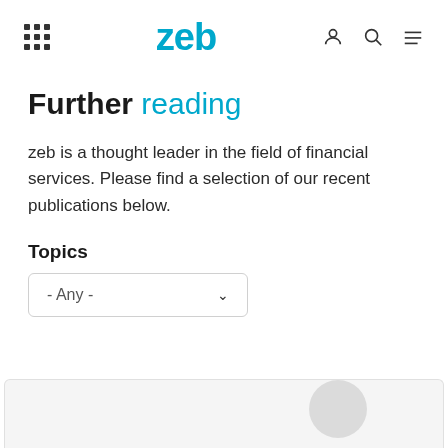zeb
Further reading
zeb is a thought leader in the field of financial services. Please find a selection of our recent publications below.
Topics
- Any -
[Figure (screenshot): Partial card/thumbnail visible at the bottom of the page, showing a grey circle on a light background]